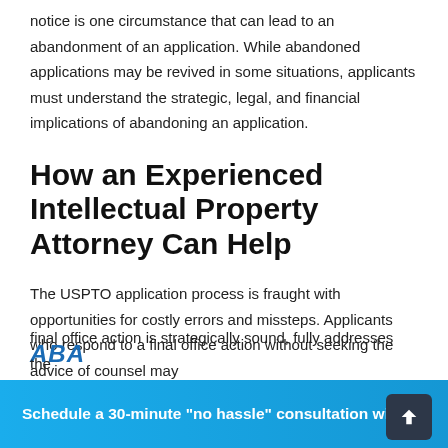notice is one circumstance that can lead to an abandonment of an application. While abandoned applications may be revived in some situations, applicants must understand the strategic, legal, and financial implications of abandoning an application.
How an Experienced Intellectual Property Attorney Can Help
The USPTO application process is fraught with opportunities for costly errors and missteps. Applicants who respond to a final office action without seeking the advice of counsel may
final office action is strategically sound, fully addresses the
Schedule a 30-minute "no hassle" consultation with us